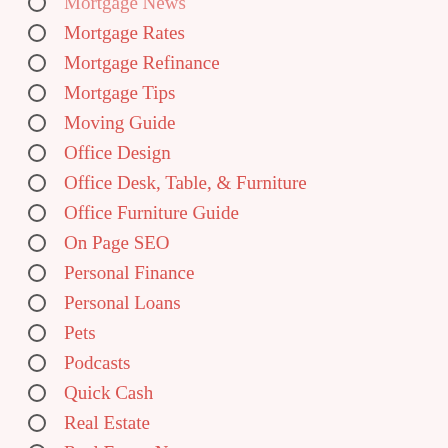Mortgage News
Mortgage Rates
Mortgage Refinance
Mortgage Tips
Moving Guide
Office Design
Office Desk, Table, & Furniture
Office Furniture Guide
On Page SEO
Personal Finance
Personal Loans
Pets
Podcasts
Quick Cash
Real Estate
Real Estate News